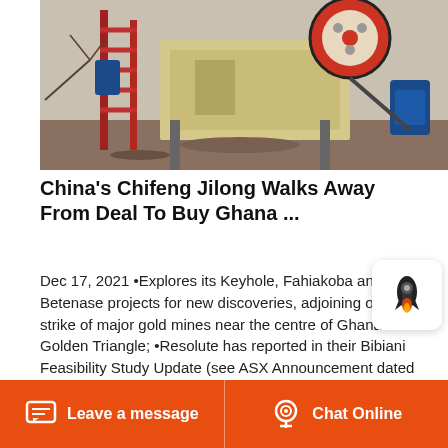[Figure (photo): Industrial mining/crushing machine with red metal frame, large flywheel, on outdoor terrain]
China's Chifeng Jilong Walks Away From Deal To Buy Ghana ...
Dec 17, 2021 •Explores its Keyhole, Fahiakoba and Betenase projects for new discoveries, adjoining or along strike of major gold mines near the centre of Ghana's Golden Triangle; •Resolute has reported in their Bibiani Feasibility Study Update (see ASX Announcement dated 13 July 2018) 2.5 Moz (21.7 million tonnes grading 3.6 g/t) of gold in
Leave a message   Chat Online